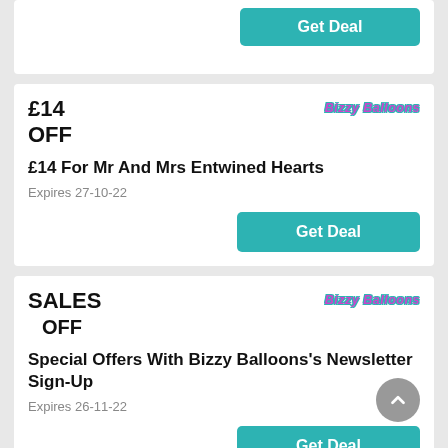Get Deal
£14
OFF
[Figure (logo): Bizzy Balloons logo in pink/purple italic text with teal outline]
£14 For Mr And Mrs Entwined Hearts
Expires 27-10-22
Get Deal
SALES
  OFF
[Figure (logo): Bizzy Balloons logo in pink/purple italic text with teal outline]
Special Offers With Bizzy Balloons's Newsletter Sign-Up
Expires 26-11-22
Get Deal